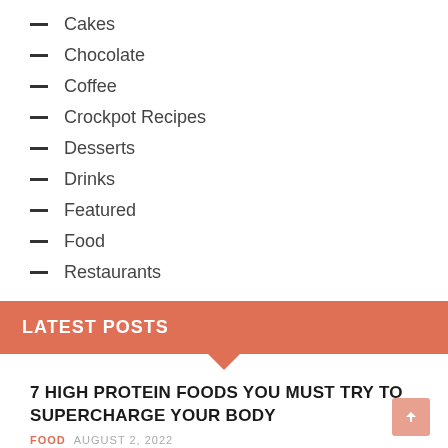Cakes
Chocolate
Coffee
Crockpot Recipes
Desserts
Drinks
Featured
Food
Restaurants
LATEST POSTS
7 HIGH PROTEIN FOODS YOU MUST TRY TO SUPERCHARGE YOUR BODY
FOOD  AUGUST 2, 2022